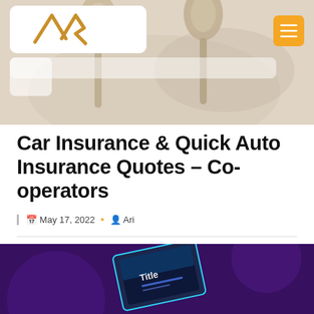[Figure (photo): Website header banner showing decorative metallic spoon-like objects on a beige/cream background, with the AR logo (mountain/peak icon in gold) on a white rounded rectangle card in the top left, and a golden hamburger menu button in the top right.]
Car Insurance & Quick Auto Insurance Quotes – Co-operators
May 17, 2022  •  Ari
[Figure (screenshot): Bottom portion of a dark purple webpage screenshot showing what appears to be a presentation or website interface with a glowing blue/teal angled screen element and text reading 'Title' visible.]